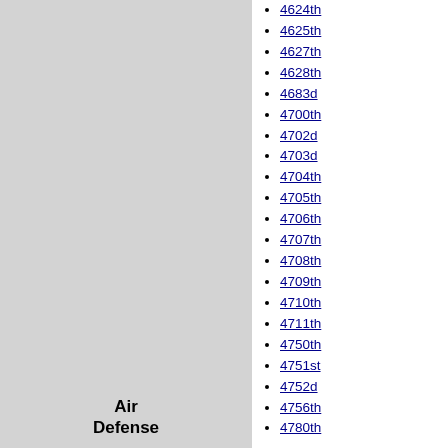[Figure (other): Gray left panel background]
Air Defense
4624th
4625th
4627th
4628th
4683d
4700th
4702d
4703d
4704th
4705th
4706th
4707th
4708th
4709th
4710th
4711th
4750th
4751st
4752d
4756th
4780th
Fighter 1st
4th
14th